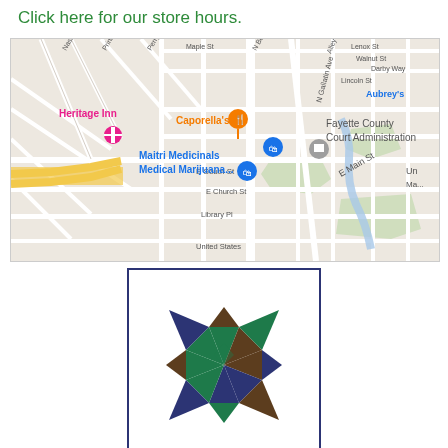Click here for our store hours.
[Figure (map): Google Maps screenshot showing the area around Fayette County, including Heritage Inn, Caporella's, Maitri Medicinals Medical Marijuana, Fayette County Court Administration, Aubrey's, and various street labels including Nassau St, Princeton Ave, Perry, N Beeson Blvd, Maple St, Walnut St, Darby Way, Lincoln St, N Gallatin Ave, E South St, E Main St, E Church St, Library Pl, United States.]
[Figure (logo): Amy's Quilt Room logo: a quilt star/pinwheel pattern made of triangles in dark green, navy blue, and brown, inside a navy-bordered square.]
Amy's Quilt Room